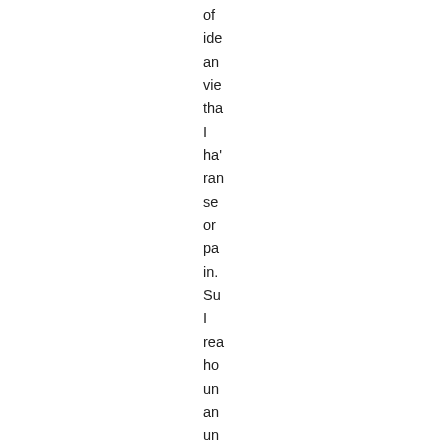of ide an vie tha I ha' ran se or pa in. Su I rea ho un an un this wa tha this